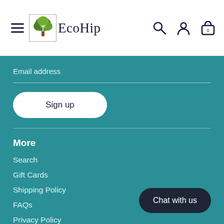EcoHip
Email address
Sign up
More
Search
Gift Cards
Shipping Policy
FAQs
Privacy Policy
Chat with us